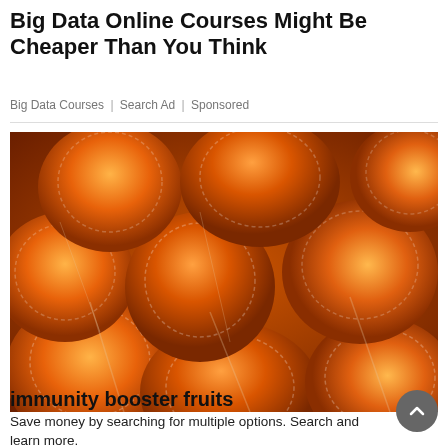Big Data Online Courses Might Be Cheaper Than You Think
Big Data Courses | Search Ad | Sponsored
[Figure (photo): Close-up photo of many peeled mandarin oranges/tangerines piled together, showing their orange flesh and white pith segments.]
immunity booster fruits
Save money by searching for multiple options. Search and learn more.